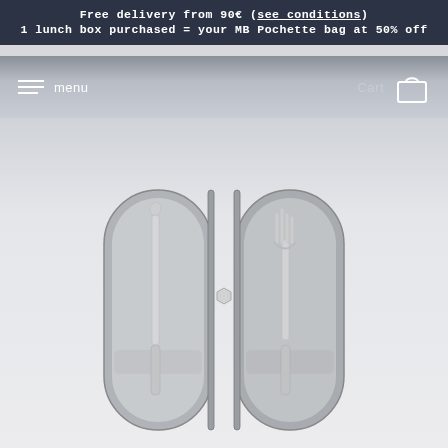Free delivery from 90€ (see conditions)
1 lunch box purchased = your MB Pochette bag at 50% off
[Figure (screenshot): Navigation bar with hamburger menu icon and 'menu' text on the left, and 'Cart' text with shopping bag icon on the right, on a grey gradient background]
[Figure (photo): An open travel cutlery case showing a knife on the left side and a fork/spoon on the right side, held by a grey elastic band, with zipper closure, photographed from above on a light grey background]